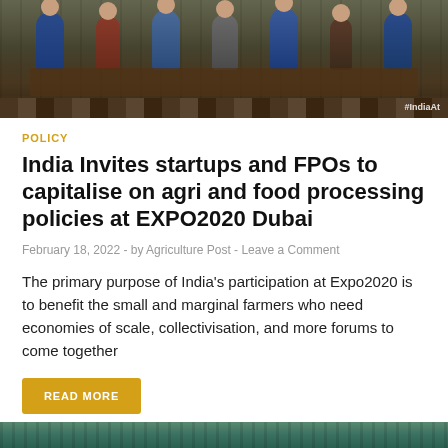[Figure (photo): Photo of panel discussion with multiple people seated at a table on a stage, with green background, watermark #IndiaAt visible]
POLICY
India Invites startups and FPOs to capitalise on agri and food processing policies at EXPO2020 Dubai
February 18, 2022  -  by Agriculture Post  -  Leave a Comment
The primary purpose of India's participation at Expo2020 is to benefit the small and marginal farmers who need economies of scale, collectivisation, and more forums to come together
READ MORE
[Figure (photo): Bottom partial image, appears to be crops or agricultural scene with teal/green tones]